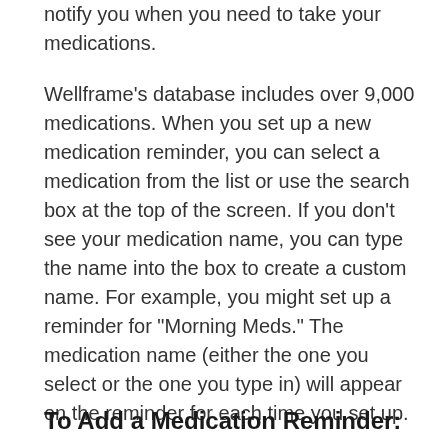notify you when you need to take your medications.
Wellframe's database includes over 9,000 medications. When you set up a new medication reminder, you can select a medication from the list or use the search box at the top of the screen. If you don't see your medication name, you can type the name into the box to create a custom name. For example, you might set up a reminder for "Morning Meds." The medication name (either the one you select or the one you type in) will appear on the reminder for each time you set up.
To Add a Medication Reminder: